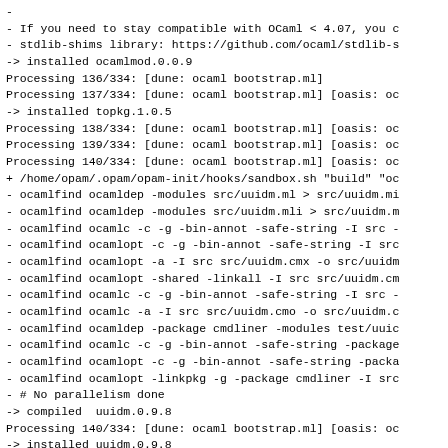- 
- If you need to stay compatible with OCaml < 4.07, you c
- stdlib-shims library: https://github.com/ocaml/stdlib-s
-> installed ocamlmod.0.0.9
Processing 136/334: [dune: ocaml bootstrap.ml]
Processing 137/334: [dune: ocaml bootstrap.ml] [oasis: oc
-> installed topkg.1.0.5
Processing 138/334: [dune: ocaml bootstrap.ml] [oasis: oc
Processing 139/334: [dune: ocaml bootstrap.ml] [oasis: oc
Processing 140/334: [dune: ocaml bootstrap.ml] [oasis: oc
+ /home/opam/.opam/opam-init/hooks/sandbox.sh "build" "oc
- ocamlfind ocamldep -modules src/uuidm.ml > src/uuidm.mi
- ocamlfind ocamldep -modules src/uuidm.mli > src/uuidm.m
- ocamlfind ocamlc -c -g -bin-annot -safe-string -I src -
- ocamlfind ocamlopt -c -g -bin-annot -safe-string -I src
- ocamlfind ocamlopt -a -I src src/uuidm.cmx -o src/uuidm
- ocamlfind ocamlopt -shared -linkall -I src src/uuidm.cm
- ocamlfind ocamlc -c -g -bin-annot -safe-string -I src -
- ocamlfind ocamlc -a -I src src/uuidm.cmo -o src/uuidm.c
- ocamlfind ocamldep -package cmdliner -modules test/uuic
- ocamlfind ocamlc -c -g -bin-annot -safe-string -package
- ocamlfind ocamlopt -c -g -bin-annot -safe-string -packa
- ocamlfind ocamlopt -linkpkg -g -package cmdliner -I src
- # No parallelism done
-> compiled  uuidm.0.9.8
Processing 140/334: [dune: ocaml bootstrap.ml] [oasis: oc
-> installed uuidm.0.9.8
Processing 141/334: [dune: ocaml bootstrap.ml] [oasis: oc
+ /home/opam/.opam/opam-init/hooks/sandbox.sh "build" "oc
- ocamlfind ocamldep -modules src/react.ml > src/react.mi